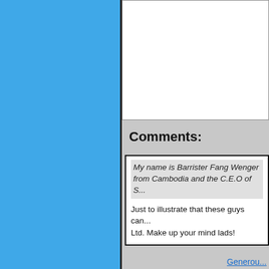[Figure (other): Blue sidebar panel on the left side of the page]
Comments:
My name is Barrister Fang Wenger from Cambodia and the C.E.O of S...
Just to illustrate that these guys can... Ltd. Make up your mind lads!
Generou...